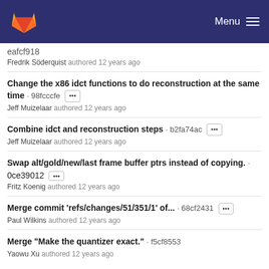GitLab Menu
eafcf918
Fredrik Söderquist authored 12 years ago
Change the x86 idct functions to do reconstruction at the same time · 98fcccfe
Jeff Muizelaar authored 12 years ago
Combine idct and reconstruction steps · b2fa74ac
Jeff Muizelaar authored 12 years ago
Swap alt/gold/new/last frame buffer ptrs instead of copying. · 0ce39012
Fritz Koenig authored 12 years ago
Merge commit 'refs/changes/51/351/1' of... · 68cf2431
Paul Wilkins authored 12 years ago
Merge "Make the quantizer exact." · f5cf8553
Yaowu Xu authored 12 years ago